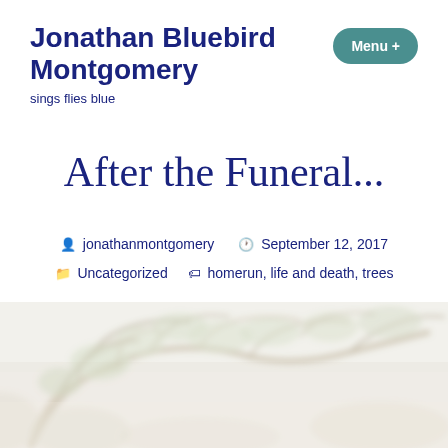Jonathan Bluebird Montgomery
sings flies blue
Menu +
After the Funeral...
jonathanmontgomery  September 12, 2017
Uncategorized  homerun, life and death, trees
[Figure (photo): Blurry outdoor photo of tree branches against a pale sky, washed out with light colors — greens, beiges, and whites.]